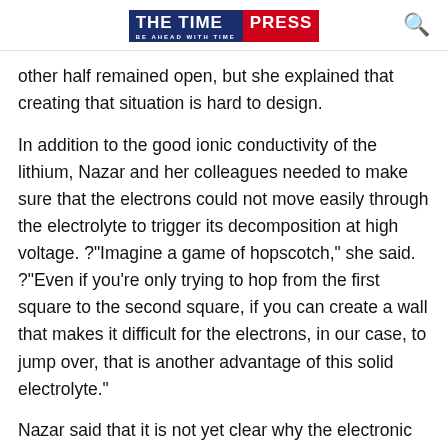THE TIME PRESS — BE AHEAD WITH TIME
other half remained open, but she explained that creating that situation is hard to design.
In addition to the good ionic conductivity of the lithium, Nazar and her colleagues needed to make sure that the electrons could not move easily through the electrolyte to trigger its decomposition at high voltage. ?"Imagine a game of hopscotch," she said. ?"Even if you're only trying to hop from the first square to the second square, if you can create a wall that makes it difficult for the electrons, in our case, to jump over, that is another advantage of this solid electrolyte."
Nazar said that it is not yet clear why the electronic conductivity is lower than many previously reported chloride electrolytes, but it helps establish a clean interface between